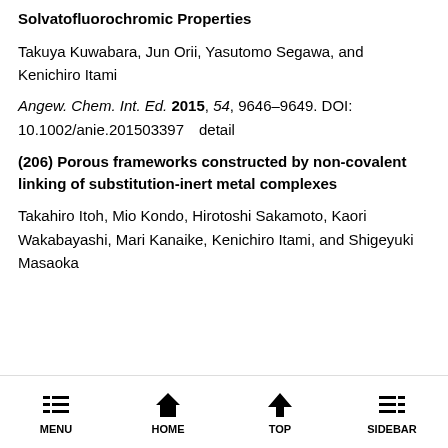Solvatofluorochromic Properties
Takuya Kuwabara, Jun Orii, Yasutomo Segawa, and Kenichiro Itami
Angew. Chem. Int. Ed. 2015, 54, 9646–9649. DOI: 10.1002/anie.201503397　detail
(206) Porous frameworks constructed by non-covalent linking of substitution-inert metal complexes
Takahiro Itoh, Mio Kondo, Hirotoshi Sakamoto, Kaori Wakabayashi, Mari Kanaike, Kenichiro Itami, and Shigeyuki Masaoka
MENU  HOME  TOP  SIDEBAR